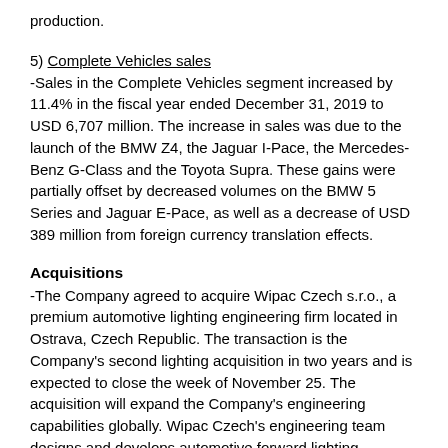production.
5) Complete Vehicles sales
-Sales in the Complete Vehicles segment increased by 11.4% in the fiscal year ended December 31, 2019 to USD 6,707 million. The increase in sales was due to the launch of the BMW Z4, the Jaguar I-Pace, the Mercedes-Benz G-Class and the Toyota Supra. These gains were partially offset by decreased volumes on the BMW 5 Series and Jaguar E-Pace, as well as a decrease of USD 389 million from foreign currency translation effects.
Acquisitions
-The Company agreed to acquire Wipac Czech s.r.o., a premium automotive lighting engineering firm located in Ostrava, Czech Republic. The transaction is the Company's second lighting acquisition in two years and is expected to close the week of November 25. The acquisition will expand the Company's engineering capabilities globally. Wipac Czech's engineering team designs and develops automotive forward lighting, primarily for European exotic and luxury brands. With more than 40 engineers on staff, Wipac Czech has significant technical competencies, having served premium customers including Aston Martin, Bentley,